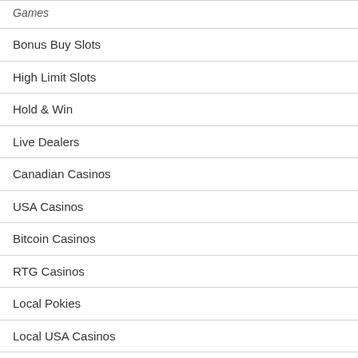Bonus Buy Slots
High Limit Slots
Hold & Win
Live Dealers
Canadian Casinos
USA Casinos
Bitcoin Casinos
RTG Casinos
Local Pokies
Local USA Casinos
Payments
Software Providers